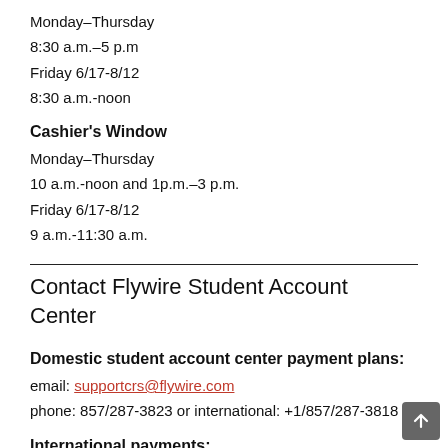Monday–Thursday
8:30 a.m.–5 p.m
Friday 6/17-8/12
8:30 a.m.-noon
Cashier's Window
Monday–Thursday
10 a.m.-noon and 1p.m.–3 p.m.
Friday 6/17-8/12
9 a.m.-11:30 a.m.
Contact Flywire Student Account Center
Domestic student account center payment plans:
email: supportcrs@flywire.com
phone: 857/287-3823 or international: +1/857/287-3818
International payments: